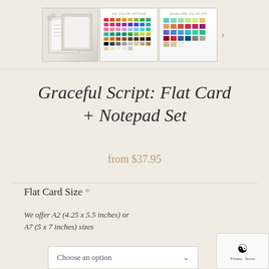[Figure (screenshot): Product thumbnail images: main notepad/flat card product photo, ink color options swatch grid, and envelope color options swatch grid with a right arrow navigation button]
Graceful Script: Flat Card + Notepad Set
from $37.95
Flat Card Size *
We offer A2 (4.25 x 5.5 inches) or A7 (5 x 7 inches) sizes
Choose an option